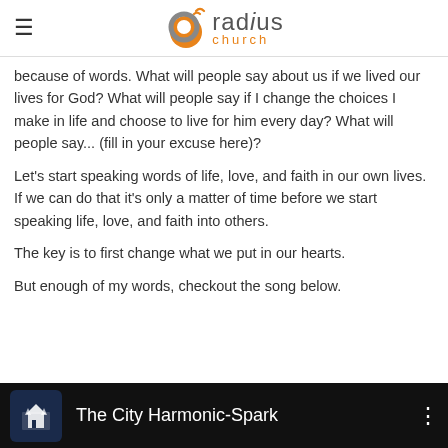radius church
because of words. What will people say about us if we lived our lives for God? What will people say if I change the choices I make in life and choose to live for him every day? What will people say... (fill in your excuse here)?
Let's start speaking words of life, love, and faith in our own lives. If we can do that it's only a matter of time before we start speaking life, love, and faith into others.
The key is to first change what we put in our hearts.
But enough of my words, checkout the song below.
[Figure (screenshot): Video player bar showing 'The City Harmonic-Spark' with a building logo icon on dark background]